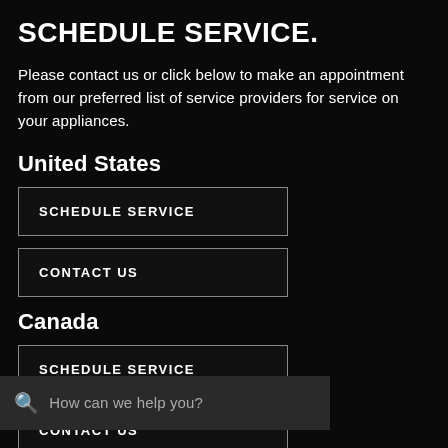SCHEDULE SERVICE.
Please contact us or click below to make an appointment from our preferred list of service providers for service on your appliances.
United States
SCHEDULE SERVICE
CONTACT US
Canada
SCHEDULE SERVICE
CONTACT US
How can we help you?